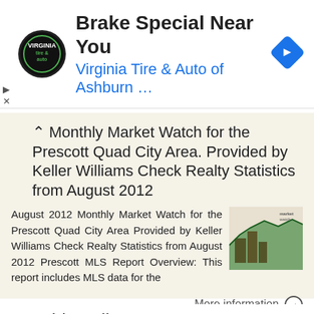[Figure (other): Advertisement banner: Virginia Tire & Auto of Ashburn — Brake Special Near You, with logo and navigation arrow icon]
Monthly Market Watch for the Prescott Quad City Area. Provided by Keller Williams Check Realty Statistics from August 2012
August 2012 Monthly Market Watch for the Prescott Quad City Area Provided by Keller Williams Check Realty Statistics from August 2012 Prescott MLS Report Overview: This report includes MLS data for the
More information →
Monthly Indicators % % - 9.2%
Monthly Indicators 2016 New Listings were down 1.4 percent for single family/duplex homes, and 35.0 percent for town homes